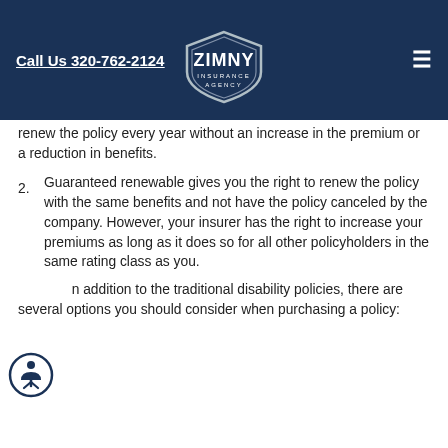Call Us 320-762-2124
[Figure (logo): Zimny Insurance Agency shield logo with white text on dark blue background]
renew the policy every year without an increase in the premium or a reduction in benefits.
2. Guaranteed renewable gives you the right to renew the policy with the same benefits and not have the policy canceled by the company. However, your insurer has the right to increase your premiums as long as it does so for all other policyholders in the same rating class as you.
In addition to the traditional disability policies, there are several options you should consider when purchasing a policy: